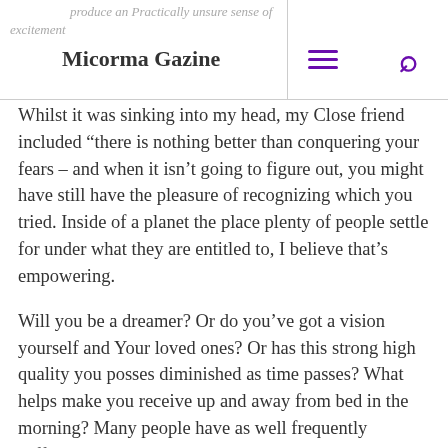Micorma Gazine
Whilst it was sinking into my head, my Close friend included “there is nothing better than conquering your fears – and when it isn’t going to figure out, you might have still have the pleasure of recognizing which you tried. Inside of a planet the place plenty of people settle for under what they are entitled to, I believe that’s empowering.
Will you be a dreamer? Or do you’ve got a vision yourself and Your loved ones? Or has this strong high quality you posses diminished as time passes? What helps make you receive up and away from bed in the morning? Many people have as well frequently sufficient are actually requested this concern by Some